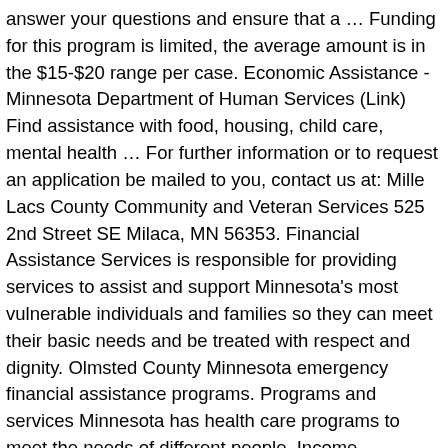answer your questions and ensure that a ... Funding for this program is limited, the average amount is in the $15-$20 range per case. Economic Assistance - Minnesota Department of Human Services (Link) Find assistance with food, housing, child care, mental health ... For further information or to request an application be mailed to you, contact us at: Mille Lacs County Community and Veteran Services 525 2nd Street SE Milaca, MN 56353. Financial Assistance Services is responsible for providing services to assist and support Minnesota's most vulnerable individuals and families so they can meet their basic needs and be treated with respect and dignity. Olmsted County Minnesota emergency financial assistance programs. Programs and services Minnesota has health care programs to meet the needs of different people. Income assistance programs provide a safety net for adults who have low incomes and need help covering basic costs like housing. The non-profit can help people find local resources that can address basic needs, help people apply for government and public benefits